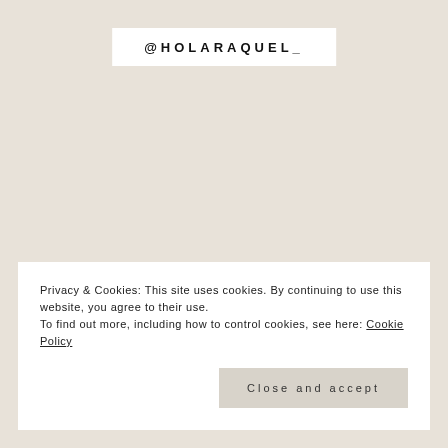@HOLARAQUEL_
Privacy & Cookies: This site uses cookies. By continuing to use this website, you agree to their use.
To find out more, including how to control cookies, see here: Cookie Policy
Close and accept